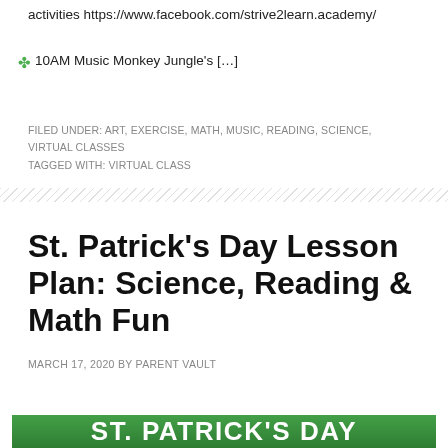activities https://www.facebook.com/strive2learn.academy/
✤ 10AM Music Monkey Jungle's […]
FILED UNDER: ART, EXERCISE, MATH, MUSIC, READING, SCIENCE, VIRTUAL CLASSES
TAGGED WITH: VIRTUAL CLASS
St. Patrick's Day Lesson Plan: Science, Reading & Math Fun
MARCH 17, 2020 BY PARENT VAULT
LEAVE A COMMENT
[Figure (illustration): Green St. Patrick's Day banner with white bold text 'ST. PATRICK'S DAY']